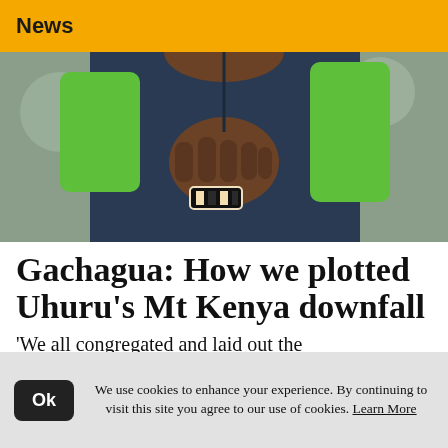News
[Figure (photo): Close-up photo of a man in a navy blue puffer vest over a green shirt, clasping his hands together, wearing a watch with a striped band.]
Gachagua: How we plotted Uhuru's Mt Kenya downfall
'We all congregated and laid out the
We use cookies to enhance your experience. By continuing to visit this site you agree to our use of cookies. Learn More